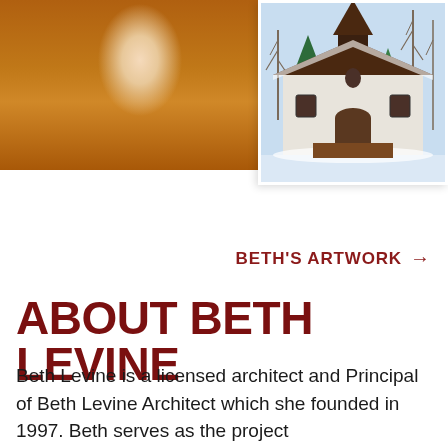[Figure (photo): Partial photo of a person wearing an orange/mustard colored fleece or jacket with a white top visible underneath, cropped at left side]
[Figure (illustration): Painting or illustration of a white stucco building with dark brown roof in a snowy winter scene with evergreen trees and bare trees]
BETH'S ARTWORK →
ABOUT BETH LEVINE
Beth Levine is a licensed architect and Principal of Beth Levine Architect which she founded in 1997. Beth serves as the project